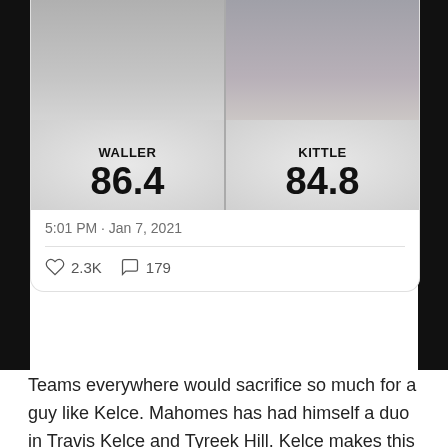[Figure (infographic): Twitter/social media card showing a comparison between NFL players Waller (score 86.4) and Kittle (score 84.8), with player photos above their names and scores on a speckled background.]
5:01 PM · Jan 7, 2021
2.3K  179
Teams everywhere would sacrifice so much for a guy like Kelce. Mahomes has had himself a duo in Travis Kelce and Tyreek Hill. Kelce makes this Chiefs offense what it is and produces at an extremely high